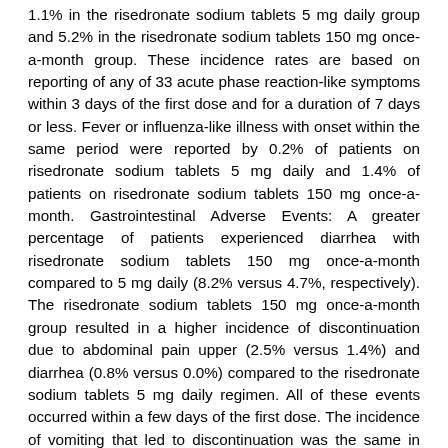1.1% in the risedronate sodium tablets 5 mg daily group and 5.2% in the risedronate sodium tablets 150 mg once-a-month group. These incidence rates are based on reporting of any of 33 acute phase reaction-like symptoms within 3 days of the first dose and for a duration of 7 days or less. Fever or influenza-like illness with onset within the same period were reported by 0.2% of patients on risedronate sodium tablets 5 mg daily and 1.4% of patients on risedronate sodium tablets 150 mg once-a-month. Gastrointestinal Adverse Events: A greater percentage of patients experienced diarrhea with risedronate sodium tablets 150 mg once-a-month compared to 5 mg daily (8.2% versus 4.7%, respectively). The risedronate sodium tablets 150 mg once-a-month group resulted in a higher incidence of discontinuation due to abdominal pain upper (2.5% versus 1.4%) and diarrhea (0.8% versus 0.0%) compared to the risedronate sodium tablets 5 mg daily regimen. All of these events occurred within a few days of the first dose. The incidence of vomiting that led to discontinuation was the same in both groups (0.3% versus 0.3%). Ocular Adverse Events: None of the